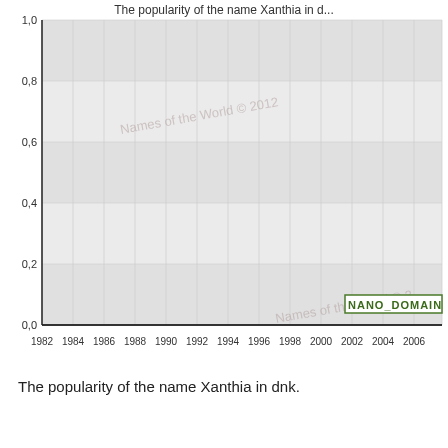[Figure (continuous-plot): Line chart showing the popularity of the name Xanthia in dnk over years 1982–2006+. Y-axis ranges from 0.0 to 1.0. The data line stays at or near 0.0 throughout. Watermark text 'Names of the World © 2012' appears multiple times in the plot area. A green label 'NANO_DOMAIN' appears near bottom right around year 2002.]
The popularity of the name Xanthia in dnk.